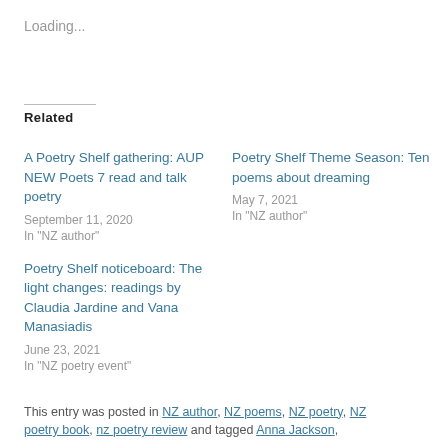Loading...
Related
A Poetry Shelf gathering: AUP NEW Poets 7 read and talk poetry
September 11, 2020
In "NZ author"
Poetry Shelf Theme Season: Ten poems about dreaming
May 7, 2021
In "NZ author"
Poetry Shelf noticeboard: The light changes: readings by Claudia Jardine and Vana Manasiadis
June 23, 2021
In "NZ poetry event"
This entry was posted in NZ author, NZ poems, NZ poetry, NZ poetry book, nz poetry review and tagged Anna Jackson,